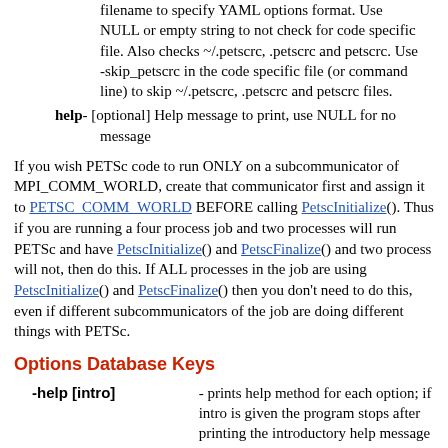filename to specify YAML options format. Use NULL or empty string to not check for code specific file. Also checks ~/.petscrc, .petscrc and petscrc. Use -skip_petscrc in the code specific file (or command line) to skip ~/.petscrc, .petscrc and petscrc files.
help- [optional] Help message to print, use NULL for no message
If you wish PETSc code to run ONLY on a subcommunicator of MPI_COMM_WORLD, create that communicator first and assign it to PETSC_COMM_WORLD BEFORE calling PetscInitialize(). Thus if you are running a four process job and two processes will run PETSc and have PetscInitialize() and PetscFinalize() and two process will not, then do this. If ALL processes in the job are using PetscInitialize() and PetscFinalize() then you don't need to do this, even if different subcommunicators of the job are doing different things with PETSc.
Options Database Keys
| Key | Description |
| --- | --- |
| -help [intro] | - prints help method for each option; if intro is given the program stops after printing the introductory help message |
| -start_in_debugger |  |